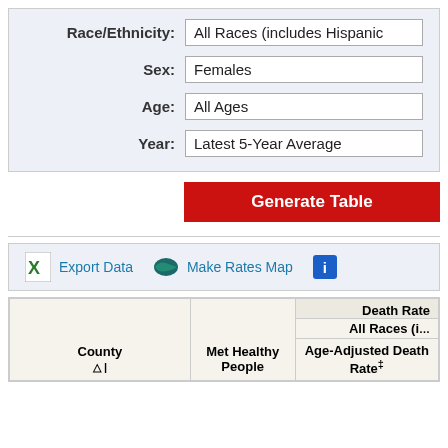| Filter | Value |
| --- | --- |
| Race/Ethnicity: | All Races (includes Hispanic |
| Sex: | Females |
| Age: | All Ages |
| Year: | Latest 5-Year Average |
Generate Table
Export Data   Make Rates Map
| County | Met Healthy People | Age-Adjusted Death Rate‡ | Death Rate All Races (i... |
| --- | --- | --- | --- |